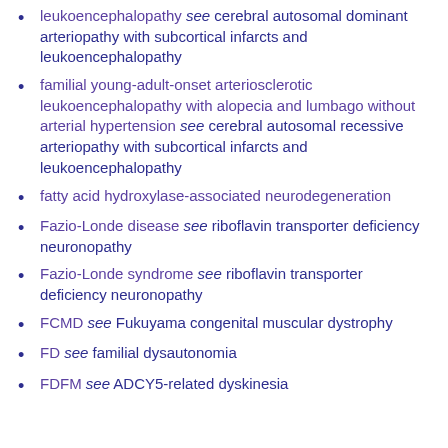leukoencephalopathy see cerebral autosomal dominant arteriopathy with subcortical infarcts and leukoencephalopathy
familial young-adult-onset arteriosclerotic leukoencephalopathy with alopecia and lumbago without arterial hypertension see cerebral autosomal recessive arteriopathy with subcortical infarcts and leukoencephalopathy
fatty acid hydroxylase-associated neurodegeneration
Fazio-Londe disease see riboflavin transporter deficiency neuronopathy
Fazio-Londe syndrome see riboflavin transporter deficiency neuronopathy
FCMD see Fukuyama congenital muscular dystrophy
FD see familial dysautonomia
FDFM see ADCY5-related dyskinesia